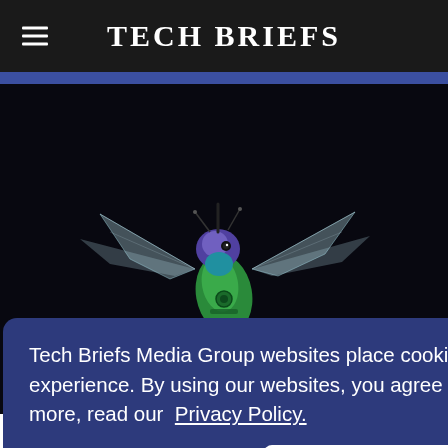Tech Briefs
[Figure (photo): A robotic hummingbird drone with iridescent purple-blue and green coloring, held in a person's hand against a dark background, with transparent mechanical wings extended.]
Tech Briefs Media Group websites place cookies on your device to give you the best user experience. By using our websites, you agree to the placement of these cookies. To learn more, read our Privacy Policy.
Accept & Continue
y like a due